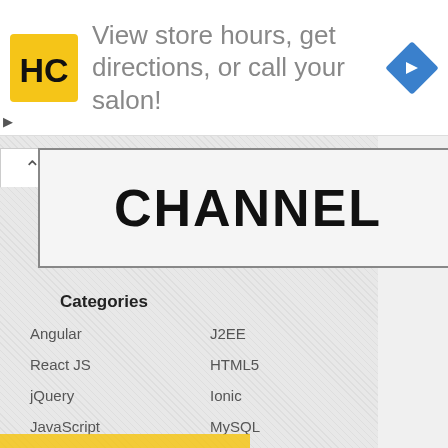[Figure (screenshot): Advertisement banner: HC logo (yellow square with HC letters), text 'View store hours, get directions, or call your salon!', blue diamond navigation icon on right. Play and X controls on left edge.]
[Figure (screenshot): Channel header box with large bold text 'CHANNEL' and an upward chevron tab button on the left.]
Categories
Angular
J2EE
React JS
HTML5
jQuery
Ionic
JavaScript
MySQL
Tutorials
Ajax
Web Design
PHP